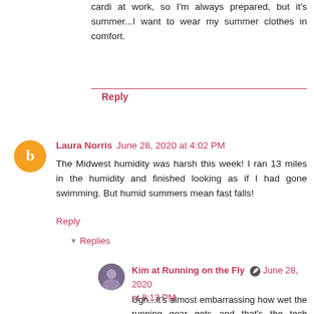cardi at work, so I'm always prepared, but it's summer...I want to wear my summer clothes in comfort.
Reply
Laura Norris  June 28, 2020 at 4:02 PM
The Midwest humidity was harsh this week! I ran 13 miles in the humidity and finished looking as if I had gone swimming. But humid summers mean fast falls!
Reply
Replies
Kim at Running on the Fly  June 28, 2020 at 9:13 PM
Ugh...it's almost embarrassing how wet the running gear gets...and that's the tech fabric LOL It's so humid, nothing evaporates. I left a really